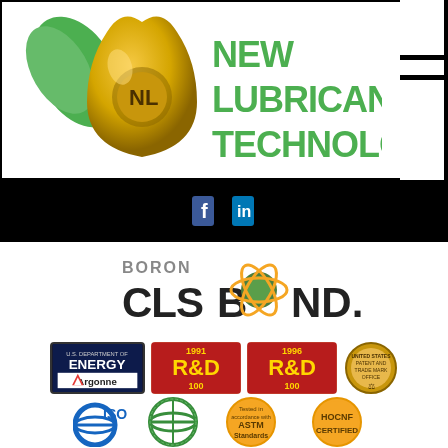[Figure (logo): New Lubricant Technology logo with gold oil drop and green leaf, with green text NEW LUBRICANT TECHNOLOGY]
[Figure (logo): BORON CLS BOND logo with atomic/molecular symbol replacing the O in BOND]
[Figure (logo): U.S. Department of Energy Argonne National Laboratory badge]
[Figure (logo): 1991 R&D 100 Winner badge in red and gold]
[Figure (logo): 1996 R&D 100 Winner badge in red and gold]
[Figure (logo): U.S. Patent and Trademark Office seal]
[Figure (logo): ISO certification globe logo in blue]
[Figure (logo): Green globe certification logo]
[Figure (logo): Tested in accordance with ASTM Standards gold seal]
[Figure (logo): HOCNF CERTIFIED gold badge]